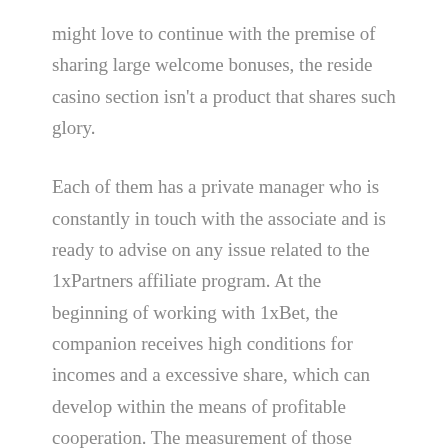might love to continue with the premise of sharing large welcome bonuses, the reside casino section isn't a product that shares such glory.
Each of them has a private manager who is constantly in touch with the associate and is ready to advise on any issue related to the 1xPartners affiliate program. At the beginning of working with 1xBet, the companion receives high conditions for incomes and a excessive share, which can develop within the means of profitable cooperation. The measurement of those earnings can amount to tens of hundreds of dollars per week, which the 1xBet associates program helps to accrue profitably and conveniently for the consumer.